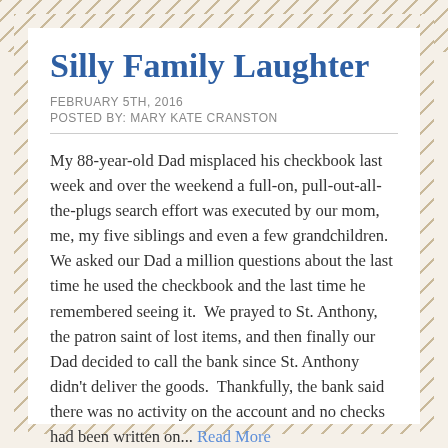Silly Family Laughter
FEBRUARY 5TH, 2016
POSTED BY: MARY KATE CRANSTON
My 88-year-old Dad misplaced his checkbook last week and over the weekend a full-on, pull-out-all-the-plugs search effort was executed by our mom, me, my five siblings and even a few grandchildren. We asked our Dad a million questions about the last time he used the checkbook and the last time he remembered seeing it.  We prayed to St. Anthony, the patron saint of lost items, and then finally our Dad decided to call the bank since St. Anthony didn't deliver the goods.  Thankfully, the bank said there was no activity on the account and no checks had been written on... Read More